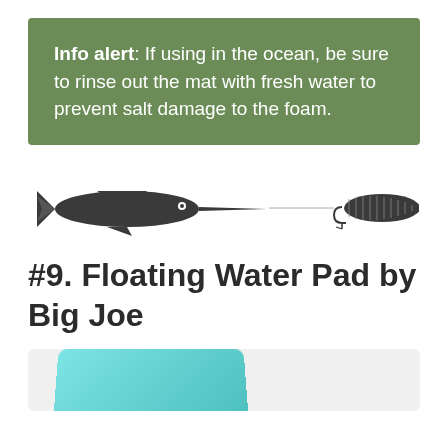Info alert: If using in the ocean, be sure to rinse out the mat with fresh water to prevent salt damage to the foam.
[Figure (illustration): A decorative divider showing a marlin fish on the left and a fishing lure on the right, connected by a thin horizontal line.]
#9. Floating Water Pad by Big Joe
[Figure (photo): Partial image of a teal/turquoise floating water pad, cropped at bottom of page.]